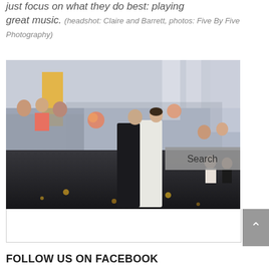just focus on what they do best: playing great music. (headshot: Claire and Barrett, photos: Five By Five Photography)
[Figure (photo): Wedding reception photo showing a bride in a white dress dancing with a man in a black suit on a reflective dark dance floor, surrounded by seated guests at tables with floral centerpieces, in a decorated banquet hall with white draping.]
Search
FOLLOW US ON FACEBOOK